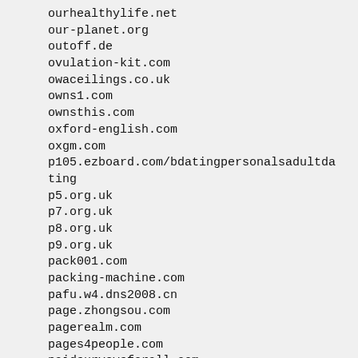ourhealthylife.net
our-planet.org
outoff.de
ovulation-kit.com
owaceilings.co.uk
owns1.com
ownsthis.com
oxford-english.com
oxgm.com
p105.ezboard.com/bdatingpersonalsadultdating
p5.org.uk
p7.org.uk
p8.org.uk
p9.org.uk
pack001.com
packing-machine.com
pafu.w4.dns2008.cn
page.zhongsou.com
pagerealm.com
pages4people.com
paidsurveysforall.com
pai-gow-keno.com
paisleydevelopmentassociation.org
paite.net